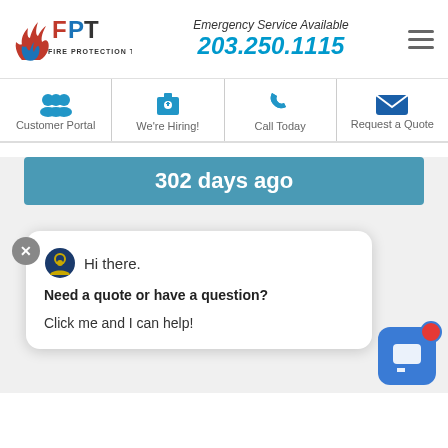[Figure (logo): FPT Fire Protection Team logo with flame icon, red and blue text]
Emergency Service Available
203.250.1115
[Figure (infographic): Navigation icons row: Customer Portal, We're Hiring!, Call Today, Request a Quote]
302 days ago
Hi there.

Need a quote or have a question?

Click me and I can help!